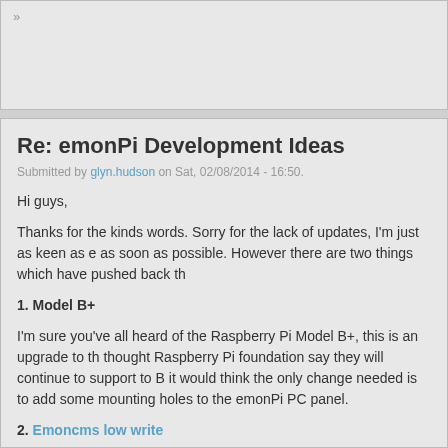»
Re: emonPi Development Ideas
Submitted by glyn.hudson on Sat, 02/08/2014 - 16:50.
Hi guys,
Thanks for the kinds words. Sorry for the lack of updates, I'm just as keen as e... as soon as possible. However there are two things which have pushed back th...
1. Model B+
I'm sure you've all heard of the Raspberry Pi Model B+, this is an upgrade to th... thought Raspberry Pi foundation say they will continue to support to B it would... think the only change needed is to add some mounting holes to the emonPi PC... panel.
2. Emoncms low write
https://github.com/emoncms/emoncms/tree/bufferedwrite
Trystan has been working on a version of emoncms for the Pi which drastically reduces the nu... card lifespan and negate the need for a HDD connected to the Pi. Testing is going well, this is s... image, There is an SD card image for the new low write version available to download from th... testing to get some more data points.